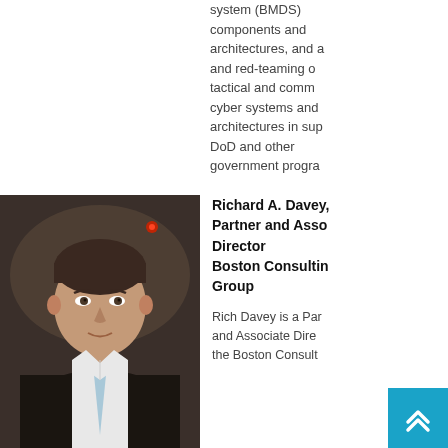system (BMDS) components and architectures, and and red-teaming of tactical and comm cyber systems and architectures in sup DoD and other government progra
[Figure (photo): Professional headshot of Richard A. Davey, a man in a dark suit with a light blue tie, photographed indoors with blurred background including a red light]
Richard A. Davey, Partner and Associate Director Boston Consulting Group
Rich Davey is a Partner and Associate Director at the Boston Consulting Group